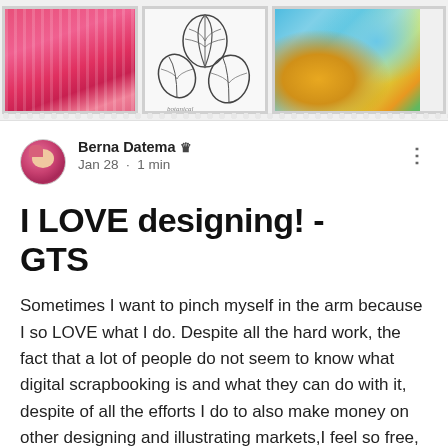[Figure (illustration): Banner image showing three art/stamp panels side by side: a pink abstract painting, a black-and-white botanical leaf sketch, and a colorful watercolor with blue, yellow, and green hues. The bottom edge has a perforated/torn stamp-like border.]
Berna Datema 👑
Jan 28 · 1 min
I LOVE designing! - GTS
Sometimes I want to pinch myself in the arm because I so LOVE what I do. Despite all the hard work, the fact that a lot of people do not seem to know what digital scrapbooking is and what they can do with it, despite of all the efforts I do to also make money on other designing and illustrating markets,I feel so free, so